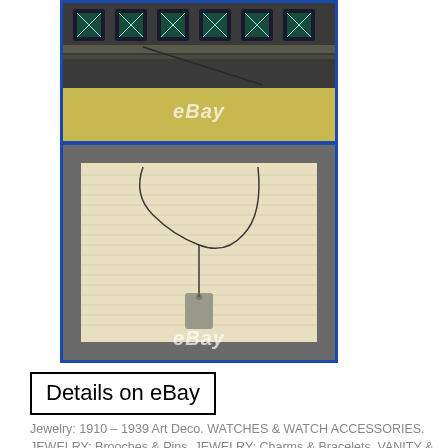[Figure (photo): Top product photo showing decorative items with green and teal gem-like squares arranged in a row, with a yellow background and eBay watermark]
[Figure (photo): Bottom product photo showing the back of a framed artwork with cardboard backing, hanging wire, and a price tag, with blue border frame and eBay watermark]
Details on eBay
Jewelry: 1910 – 1939 Art Deco. WATCHES & WATCH ACCESSORIES. JEWELRY: Brooches & Pins. JEWELRY: Charms & Bracelets. VANITY & SHAVING